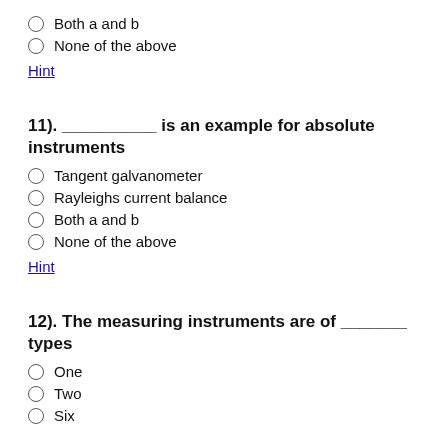Both a and b
None of the above
Hint
11). __________ is an example for absolute instruments
Tangent galvanometer
Rayleighs current balance
Both a and b
None of the above
Hint
12). The measuring instruments are of _______ types
One
Two
Six